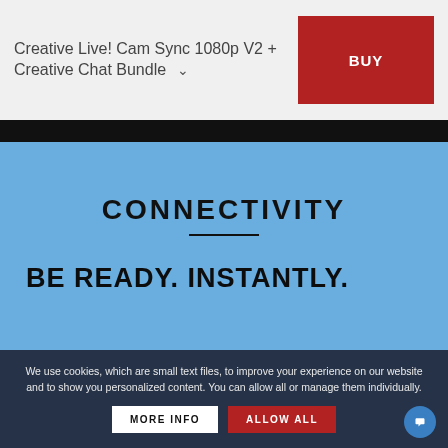Creative Live! Cam Sync 1080p V2 + Creative Chat Bundle
CONNECTIVITY
BE READY. INSTANTLY.
We use cookies, which are small text files, to improve your experience on our website and to show you personalized content. You can allow all or manage them individually.